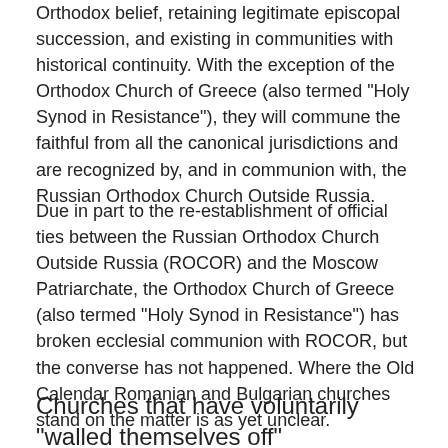Orthodox belief, retaining legitimate episcopal succession, and existing in communities with historical continuity. With the exception of the Orthodox Church of Greece (also termed "Holy Synod in Resistance"), they will commune the faithful from all the canonical jurisdictions and are recognized by, and in communion with, the Russian Orthodox Church Outside Russia.
Due in part to the re-establishment of official ties between the Russian Orthodox Church Outside Russia (ROCOR) and the Moscow Patriarchate, the Orthodox Church of Greece (also termed "Holy Synod in Resistance") has broken ecclesial communion with ROCOR, but the converse has not happened. Where the Old Calendar Romanian and Bulgarian churches stand on the matter is as yet unclear.
Churches that have voluntarily "walled themselves off"